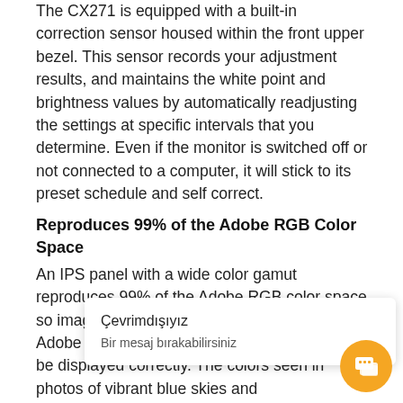The CX271 is equipped with a built-in correction sensor housed within the front upper bezel. This sensor records your adjustment results, and maintains the white point and brightness values by automatically readjusting the settings at specific intervals that you determine. Even if the monitor is switched off or not connected to a computer, it will stick to its preset schedule and self correct.
Reproduces 99% of the Adobe RGB Color Space
An IPS panel with a wide color gamut reproduces 99% of the Adobe RGB color space so images shot in RAW can be converted to Adobe RGB or images shot in Adobe RGB will be displayed correctly. The colors seen in photos of vibrant blue skies and lu... reproduced faith... a ensures that the... st th...
Çevrimdışıyız
Bir mesaj bırakabilirsiniz